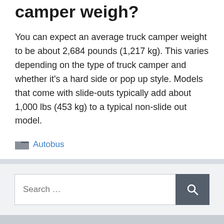camper weigh?
You can expect an average truck camper weight to be about 2,684 pounds (1,217 kg). This varies depending on the type of truck camper and whether it's a hard side or pop up style. Models that come with slide-outs typically add about 1,000 lbs (453 kg) to a typical non-slide out model.
Autobus
[Figure (other): Search bar with text input field showing 'Search ...' placeholder and a dark grey search button with magnifying glass icon]